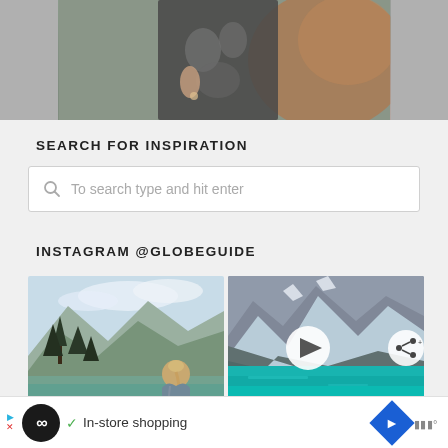[Figure (photo): Partial top photo showing a person in patterned clothing against a colorful background, cropped at top of page]
SEARCH FOR INSPIRATION
To search type and hit enter
INSTAGRAM @GLOBEGUIDE
[Figure (photo): Instagram photo of mountain landscape with lake and conifer trees, person with blonde hair viewed from behind]
[Figure (photo): Instagram video thumbnail of turquoise mountain lake with rocky peaks, play button and share button overlaid]
[Figure (screenshot): Bottom advertisement bar showing Loop app icon, In-store shopping text with checkmark, navigation and weather app icons]